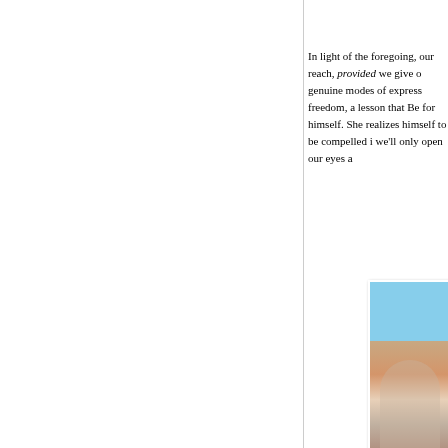In light of the foregoing, our reach, provided we give our genuine modes of expression freedom, a lesson that Beh for himself. She realizes t himself to be compelled i we'll only open our eyes a
[Figure (photo): A photograph showing a person, partially visible, with a blue sky background in the upper portion and warm tones in the lower portion.]